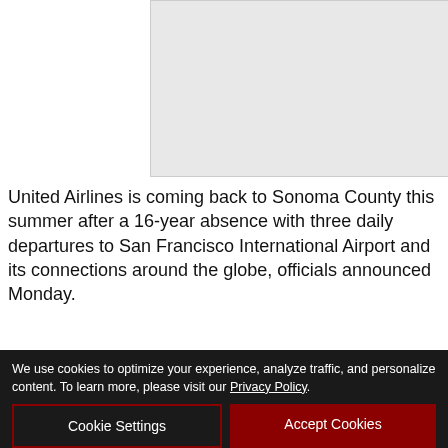[Figure (photo): Partial image at top right, light gray placeholder]
United Airlines is coming back to Sonoma County this summer after a 16-year absence with three daily departures to San Francisco International Airport and its connections around the globe, officials announced Monday.
[Figure (infographic): SHOWCASE SONOMA COUNTY advertisement — TUESDAY AUG 30 4-7 PM — Local business expo! Free and open to the public! — SANTA ROSA METRO CHAMBER · LUTHER BURBANK CENTER FOR THE ARTS]
The ne[w service is set to] to United'[s hub connecting] s M. Schule[r announced]
We use cookies to optimize your experience, analyze traffic, and personalize content. To learn more, please visit our Privacy Policy.
Cookie Settings
Accept Cookies